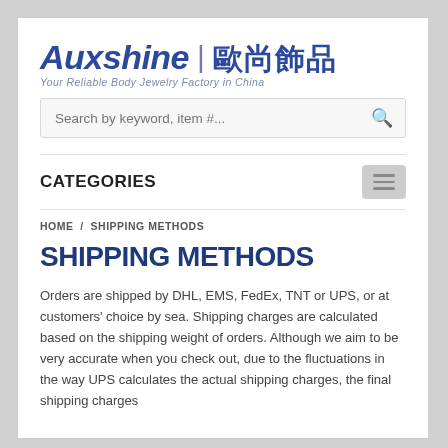[Figure (logo): Auxshine logo with Chinese characters '歐尚飾品' and tagline 'Your Reliable Body Jewelry Factory in China']
Search by keyword, item #...
CATEGORIES
HOME / SHIPPING METHODS
SHIPPING METHODS
Orders are shipped by DHL, EMS, FedEx, TNT or UPS, or at customers' choice by sea. Shipping charges are calculated based on the shipping weight of orders. Although we aim to be very accurate when you check out, due to the fluctuations in the way UPS calculates the actual shipping charges, the final shipping charges